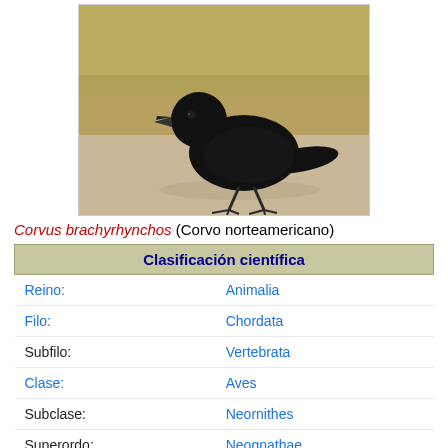[Figure (photo): A black crow (Corvus brachyrhynchos) standing on sandy ground with blurred greenish-tan background]
Corvus brachyrhynchos (Corvo norteamericano)
| Clasificación científica |
| --- |
| Reino: | Animalia |
| Filo: | Chordata |
| Subfilo: | Vertebrata |
| Clase: | Aves |
| Subclase: | Neornithes |
| Superordo: | Neoqnathae |